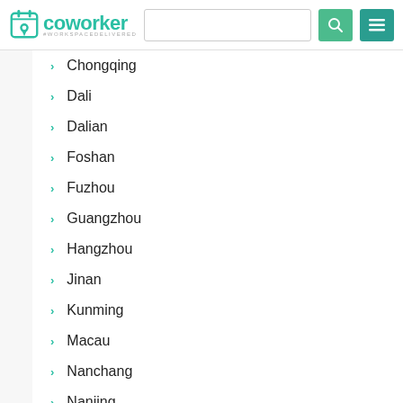[Figure (logo): Coworker logo with teal map pin icon and text 'coworker' with tagline '#WORKSPACEDELIVERED']
Chongqing
Dali
Dalian
Foshan
Fuzhou
Guangzhou
Hangzhou
Jinan
Kunming
Macau
Nanchang
Nanjing
Nanning
Ningbo
Qingdao